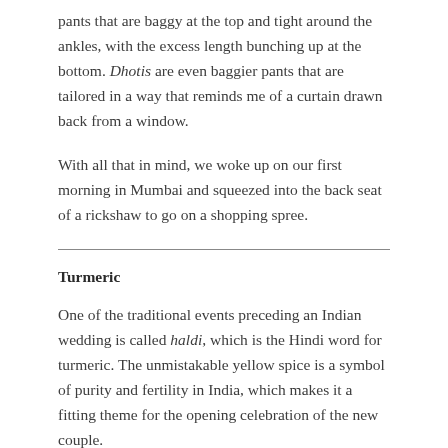pants that are baggy at the top and tight around the ankles, with the excess length bunching up at the bottom. Dhotis are even baggier pants that are tailored in a way that reminds me of a curtain drawn back from a window.
With all that in mind, we woke up on our first morning in Mumbai and squeezed into the back seat of a rickshaw to go on a shopping spree.
Turmeric
One of the traditional events preceding an Indian wedding is called haldi, which is the Hindi word for turmeric. The unmistakable yellow spice is a symbol of purity and fertility in India, which makes it a fitting theme for the opening celebration of the new couple.